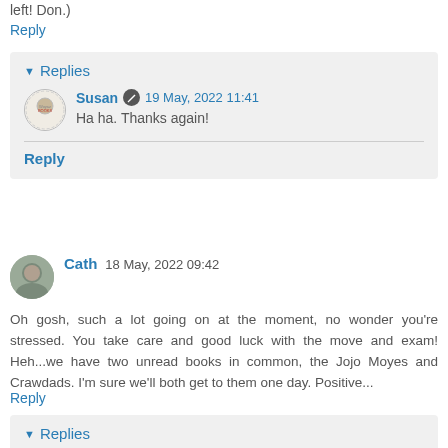left! Don.)
Reply
▾ Replies
Susan 🖊 19 May, 2022 11:41
Ha ha. Thanks again!
Reply
Cath 18 May, 2022 09:42
Oh gosh, such a lot going on at the moment, no wonder you're stressed. You take care and good luck with the move and exam! Heh...we have two unread books in common, the Jojo Moyes and Crawdads. I'm sure we'll both get to them one day. Positive...
Reply
▾ Replies